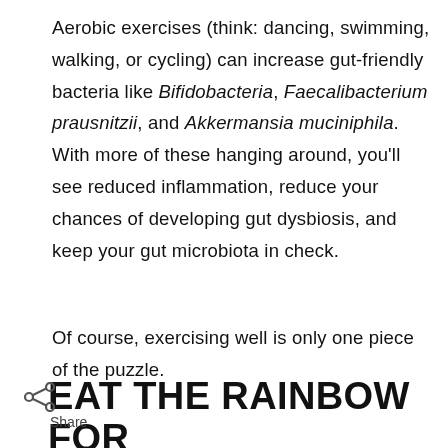Aerobic exercises (think: dancing, swimming, walking, or cycling) can increase gut-friendly bacteria like Bifidobacteria, Faecalibacterium prausnitzii, and Akkermansia muciniphila. With more of these hanging around, you'll see reduced inflammation, reduce your chances of developing gut dysbiosis, and keep your gut microbiota in check.
Of course, exercising well is only one piece of the puzzle.
EAT THE RAINBOW FOR
Share